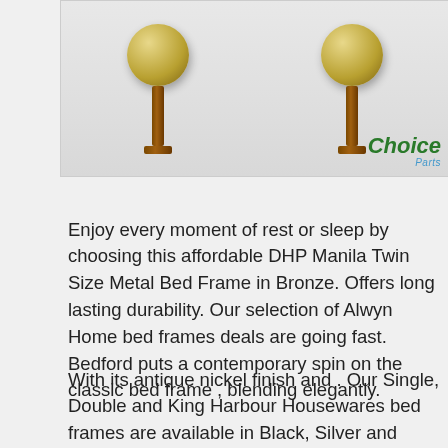[Figure (photo): Product image showing two bronze/gold metal bed finials (decorative post toppers) with spherical brass-colored balls on brown stems, with a 'Choice Parts' logo in the bottom right of the image.]
Enjoy every moment of rest or sleep by choosing this affordable DHP Manila Twin Size Metal Bed Frame in Bronze. Offers long lasting durability. Our selection of Alwyn Home bed frames deals are going fast. Bedford puts a contemporary spin on the classic bed frame , blending elegantly.
With its antique nickel finish and . Our Single, Double and King Harbour Housewares bed frames are available in Black, Silver and White. The slats eliminate the need for a box spring, creating twelve inches of clearance under the bed for storage. The wooden bed frame and headboard are the...